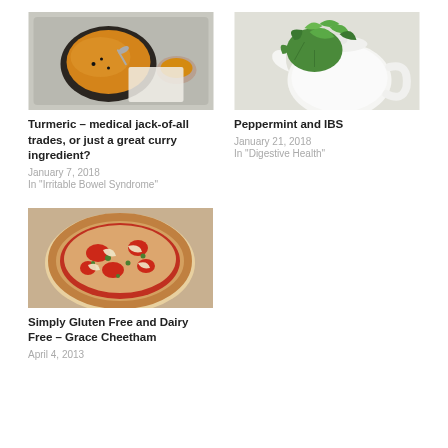[Figure (photo): Overhead shot of turmeric soup in a dark bowl on a silver tray with a small bowl of turmeric powder]
Turmeric – medical jack-of-all trades, or just a great curry ingredient?
January 7, 2018
In "Irritable Bowel Syndrome"
[Figure (photo): Fresh green mint leaves in a white teapot on a light background]
Peppermint and IBS
January 21, 2018
In "Digestive Health"
[Figure (photo): A gluten free and dairy free pizza topped with tomatoes, herbs, and shaved cheese]
Simply Gluten Free and Dairy Free – Grace Cheetham
April 4, 2013